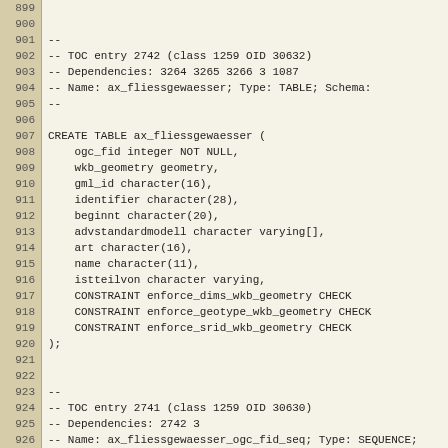SQL code listing lines 899-926 showing CREATE TABLE ax_fliessgewaesser definition and related TOC comments